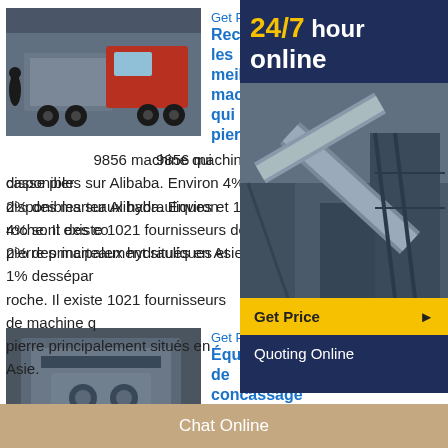Get Price
Rechercher les meilleurs machine qui casse pierre ...
9856 machine qui casse pierre disponibles sur Alibaba. Environ 4% sont des concasseurs, 2% des marteaux hydrauliques et 1% desséparateurs de roche. Il existe 1021 fournisseurs de machine qui casse pierre principalement situés en Asie.
Get Price
Équipement de concassage à vendre
2019-12-9  L'utilisation de machines de criblage pour écarter l'ensemble pierre convenable, tandis que les pierres ne conviennent pas retourner à la machine concasseur vient re-broyage. Équipement de concassage de pierre à vendre peut être divisé de la ligne de
[Figure (photo): Photo of industrial trucks and machinery]
[Figure (photo): Photo of industrial crushing/screening equipment inside a facility]
[Figure (photo): Sidebar photo of mining/industrial facility with conveyors]
24/7 hour online
Get Price
Quoting Online
Chat Online